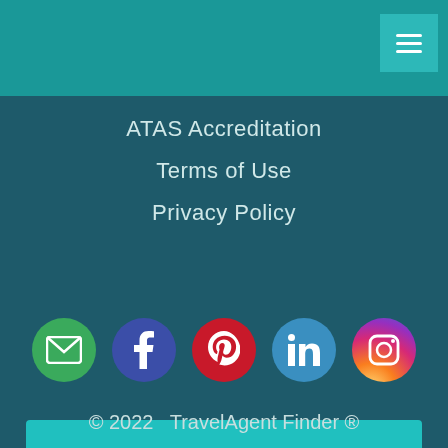Navigation menu header bar
ATAS Accreditation
Terms of Use
Privacy Policy
[Figure (infographic): Row of 5 social media icons: email (green), Facebook (dark blue), Pinterest (red), LinkedIn (blue), Instagram (gradient)]
TravelAgents - Register Here
© 2022  TravelAgent Finder ®